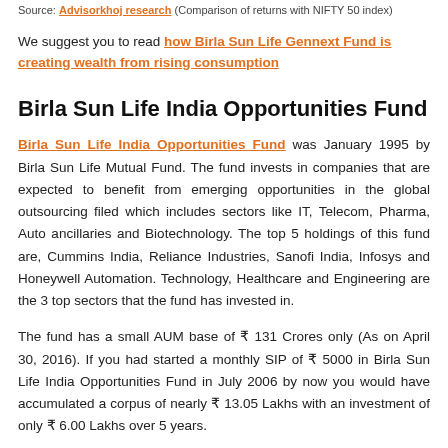Source: Advisorkhoj research (Comparison of returns with NIFTY 50 index)
We suggest you to read how Birla Sun Life Gennext Fund is creating wealth from rising consumption
Birla Sun Life India Opportunities Fund
Birla Sun Life India Opportunities Fund was January 1995 by Birla Sun Life Mutual Fund. The fund invests in companies that are expected to benefit from emerging opportunities in the global outsourcing filed which includes sectors like IT, Telecom, Pharma, Auto ancillaries and Biotechnology. The top 5 holdings of this fund are, Cummins India, Reliance Industries, Sanofi India, Infosys and Honeywell Automation. Technology, Healthcare and Engineering are the 3 top sectors that the fund has invested in.
The fund has a small AUM base of ₹ 131 Crores only (As on April 30, 2016). If you had started a monthly SIP of ₹ 5000 in Birla Sun Life India Opportunities Fund in July 2006 by now you would have accumulated a corpus of nearly ₹ 13.05 Lakhs with an investment of only ₹ 6.00 Lakhs over 5 years.